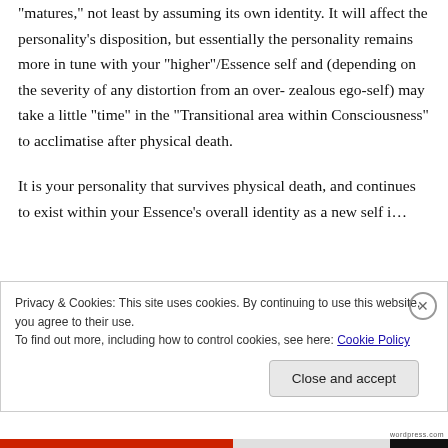“matures,” not least by assuming its own identity. It will affect the personality’s disposition, but essentially the personality remains more in tune with your “higher”/Essence self and (depending on the severity of any distortion from an over-zealous ego-self) may take a little “time” in the “Transitional area within Consciousness” to acclimatise after physical death.
It is your personality that survives physical death, and continues to exist within your Essence’s overall identity as a new self in…
Privacy & Cookies: This site uses cookies. By continuing to use this website, you agree to their use.
To find out more, including how to control cookies, see here: Cookie Policy